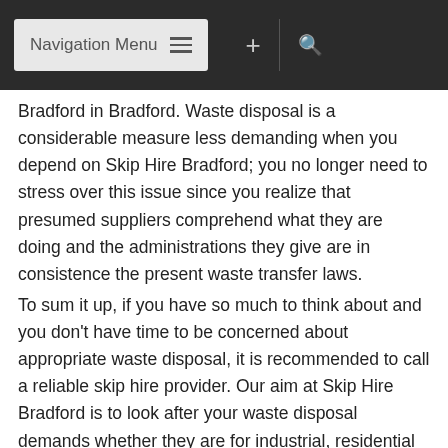Navigation Menu
Bradford in Bradford. Waste disposal is a considerable measure less demanding when you depend on Skip Hire Bradford; you no longer need to stress over this issue since you realize that presumed suppliers comprehend what they are doing and the administrations they give are in consistence the present waste transfer laws.
To sum it up, if you have so much to think about and you don't have time to be concerned about appropriate waste disposal, it is recommended to call a reliable skip hire provider. Our aim at Skip Hire Bradford is to look after your waste disposal demands whether they are for industrial, residential or commercial needs. With Skip Hire Bradford your desires are made a reality.
Skip Hire Bradford in Bradford has been in the field for several years now offering waste